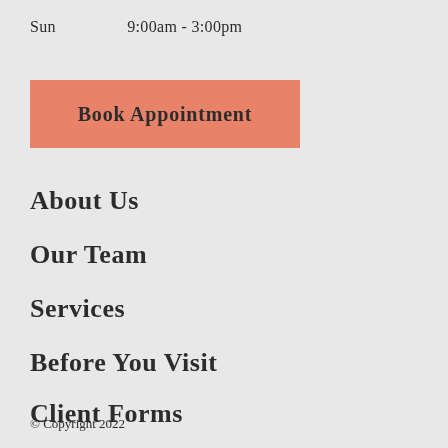Sun   9:00am - 3:00pm
Book Appointment
About Us
Our Team
Services
Before You Visit
Client Forms
© Copyright 2022